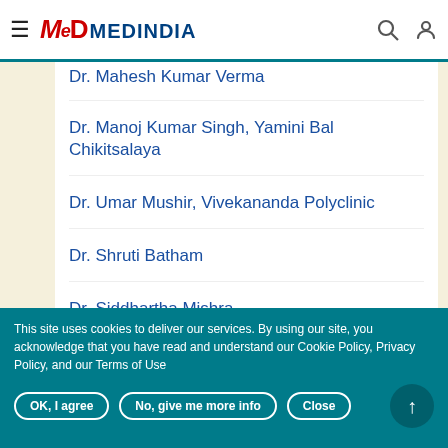Medindia - hamburger menu, search, user icons
Dr. Mahesh Kumar Verma
Dr. Manoj Kumar Singh, Yamini Bal Chikitsalaya
Dr. Umar Mushir, Vivekananda Polyclinic
Dr. Shruti Batham
Dr. Siddhartha Mishra
This site uses cookies to deliver our services. By using our site, you acknowledge that you have read and understand our Cookie Policy, Privacy Policy, and our Terms of Use
OK, I agree | No, give me more info | Close